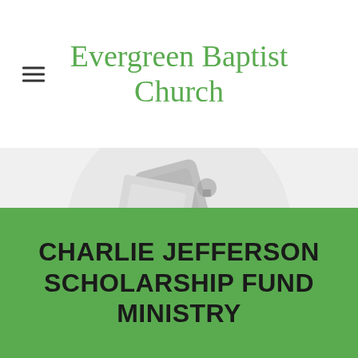Evergreen Baptist Church
[Figure (photo): Circular cropped photo showing what appears to be a phone or electronic device on a desk, partially visible from above.]
Dea. Marshall Nelson
CHARLIE JEFFERSON SCHOLARSHIP FUND MINISTRY